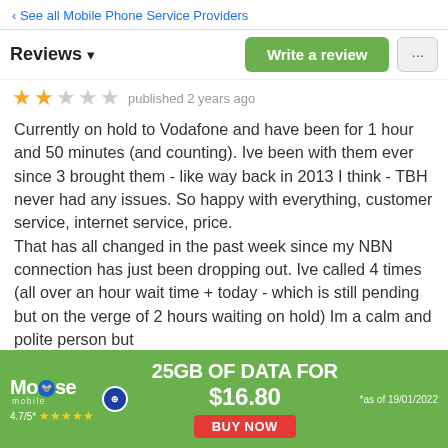‹ See all Mobile Phone Service Providers
Reviews ▾
published 2 years ago
Currently on hold to Vodafone and have been for 1 hour and 50 minutes (and counting). Ive been with them ever since 3 brought them - like way back in 2013 I think - TBH never had any issues. So happy with everything, customer service, internet service, price.
That has all changed in the past week since my NBN connection has just been dropping out. Ive called 4 times (all over an hour wait time + today - which is still pending but on the verge of 2 hours waiting on hold) Im a calm and polite person but
[Figure (infographic): Moose Mobile advertisement banner: 25GB OF DATA FOR $16.80, BUY NOW, 4.7/5 stars, *as of 19/01/2022]